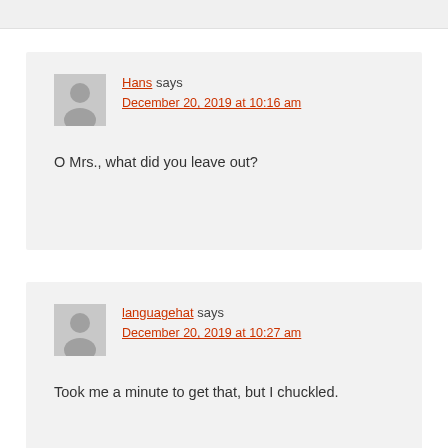Hans says
December 20, 2019 at 10:16 am
O Mrs., what did you leave out?
languagehat says
December 20, 2019 at 10:27 am
Took me a minute to get that, but I chuckled.